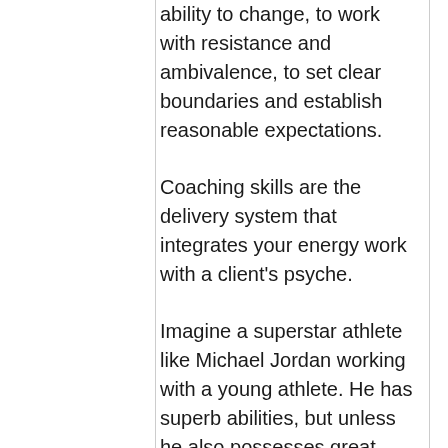ability to change, to work with resistance and ambivalence, to set clear boundaries and establish reasonable expectations.
Coaching skills are the delivery system that integrates your energy work with a client's psyche.
Imagine a superstar athlete like Michael Jordan working with a young athlete. He has superb abilities, but unless he also possesses great coaching skills, his ability to transfer those abilities to another person is